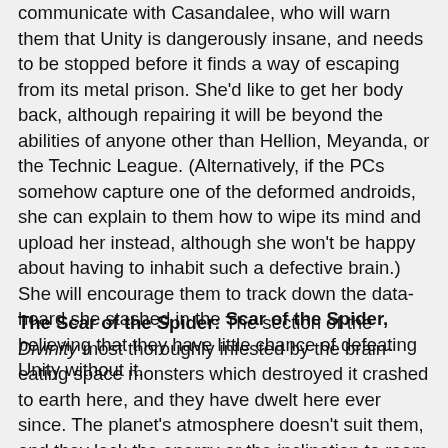communicate with Casandalee, who will warn them that Unity is dangerously insane, and needs to be stopped before it finds a way of escaping from its metal prison. She'd like to get her body back, although repairing it will be beyond the abilities of anyone other than Hellion, Meyanda, or the Technic League. (Alternatively, if the PCs somehow capture one of the deformed androids, she can explain to them how to wipe its mind and upload her instead, although she won't be happy about having to inhabit such a defective brain.) She will encourage them to track down the data-hoard she stashed in the Scar of the Spider, believing that they have little chance of defeating Unity without it.
The Scar of the Spider: The section of the Divinity most thoroughly infested by the brain-eating space monsters which destroyed it crashed to earth here, and they have dwelt here ever since. The planet's atmosphere doesn't suit them, and they lack the energy or the inclination to roam far from their lairs. After Casandalee fled from Unity, she hid a